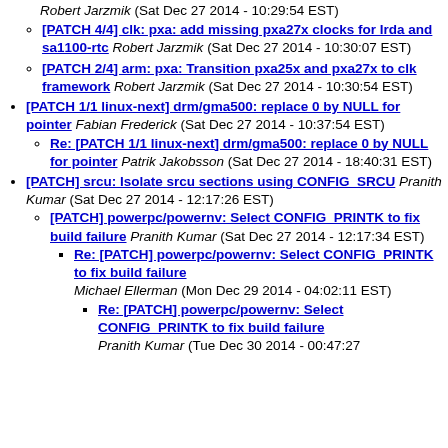[PATCH 4/4] clk: pxa: add missing pxa27x clocks for Irda and sa1100-rtc Robert Jarzmik (Sat Dec 27 2014 - 10:30:07 EST)
[PATCH 2/4] arm: pxa: Transition pxa25x and pxa27x to clk framework Robert Jarzmik (Sat Dec 27 2014 - 10:30:54 EST)
[PATCH 1/1 linux-next] drm/gma500: replace 0 by NULL for pointer Fabian Frederick (Sat Dec 27 2014 - 10:37:54 EST)
Re: [PATCH 1/1 linux-next] drm/gma500: replace 0 by NULL for pointer Patrik Jakobsson (Sat Dec 27 2014 - 18:40:31 EST)
[PATCH] srcu: Isolate srcu sections using CONFIG_SRCU Pranith Kumar (Sat Dec 27 2014 - 12:17:26 EST)
[PATCH] powerpc/powernv: Select CONFIG_PRINTK to fix build failure Pranith Kumar (Sat Dec 27 2014 - 12:17:34 EST)
Re: [PATCH] powerpc/powernv: Select CONFIG_PRINTK to fix build failure Michael Ellerman (Mon Dec 29 2014 - 04:02:11 EST)
Re: [PATCH] powerpc/powernv: Select CONFIG_PRINTK to fix build failure Pranith Kumar (Tue Dec 30 2014 - 00:47:27